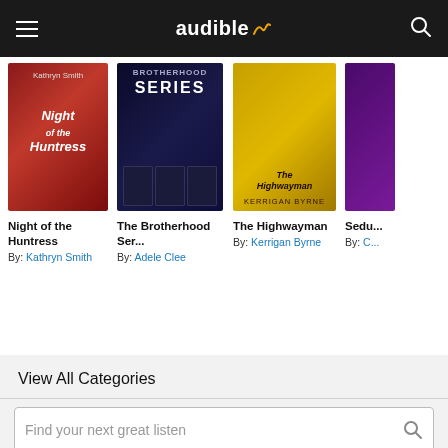audible
[Figure (screenshot): Book cover for Night of the Huntress by Kathryn Smith - dark red background]
Night of the Huntress
By: Kathryn Smith
[Figure (screenshot): Book cover for The Brotherhood Series by Adele Clee - dark blue/night sky background]
The Brotherhood Ser...
By: Adele Clee
[Figure (screenshot): Book cover for The Highwayman by Kerrigan Byrne - gold/yellow background]
The Highwayman
By: Kerrigan Byrne
Sedu...
By: C...
View All Categories
Find your next great listen
Help Center